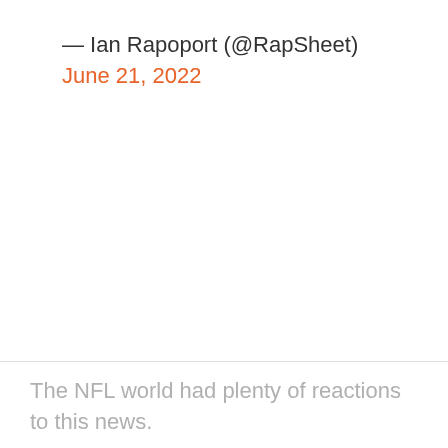— Ian Rapoport (@RapSheet) June 21, 2022
The NFL world had plenty of reactions to this news.